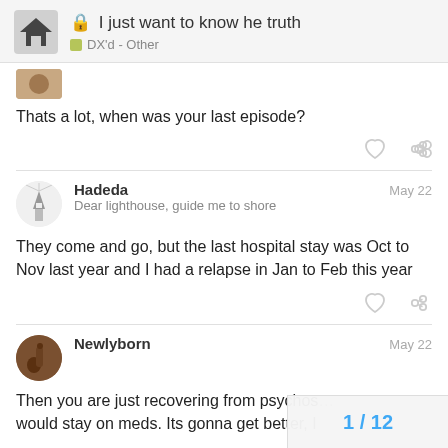I just want to know he truth — DX'd - Other
Thats a lot, when was your last episode?
Hadeda — May 22 — Dear lighthouse, guide me to shore
They come and go, but the last hospital stay was Oct to Nov last year and I had a relapse in Jan to Feb this year
Newlyborn — May 22
Then you are just recovering from psychos... would stay on meds. Its gonna get better, I
1 / 12